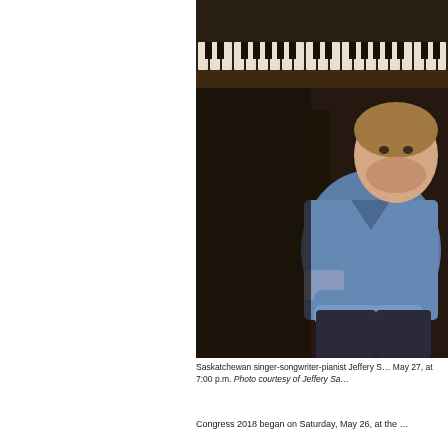[Figure (photo): A man in a denim shirt sits leaning against an upright piano, arms crossed, looking at camera. The piano keys are visible at the top of the image.]
Saskatchewan singer-songwriter-pianist Jeffery S... May 27, at 7:00 p.m. Photo courtesy of Jeffery Sa...
Congress 2018 began on Saturday, May 26, at the ...